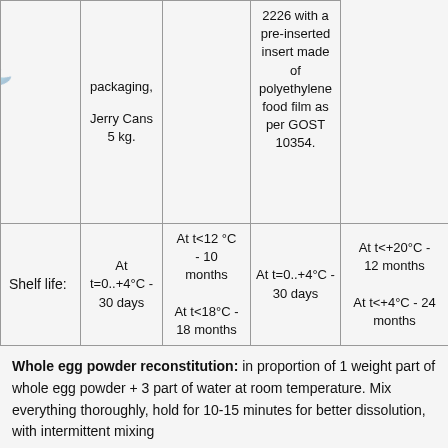|  | packaging,

Jerry Cans 5 kg. |  | 2226 with a pre-inserted insert made of polyethylene food film as per GOST 10354. |
| Shelf life: | At t=0..+4°C - 30 days | At t<12 °C - 10 months

At t<18°C - 18 months | At t=0..+4°C - 30 days | At t<+20°C - 12 months

At t<+4°C - 24 months |
Whole egg powder reconstitution: in proportion of 1 weight part of whole egg powder + 3 part of water at room temperature. Mix everything thoroughly, hold for 10-15 minutes for better dissolution, with intermittent mixing